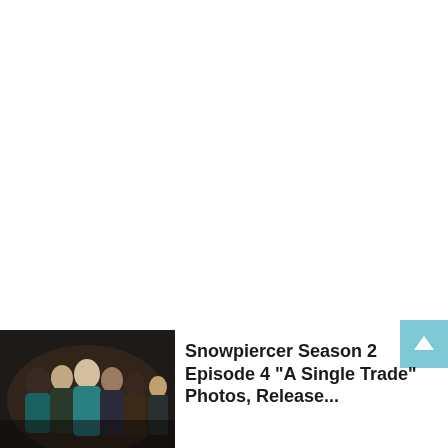[Figure (photo): Thumbnail photo of a group of people from Snowpiercer TV show, dark background with people in coats]
Snowpiercer Season 2 Episode 4 “A Single Trade” Photos, Release...